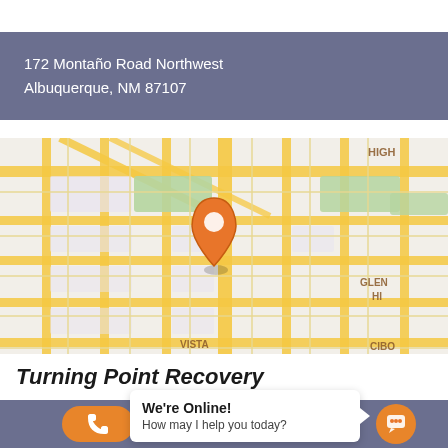172 Montaño Road Northwest
Albuquerque, NM 87107
[Figure (map): Street map showing location of Turning Point Recovery in Albuquerque, NM, with an orange location pin marker. Map labels include HIGH, GLEN HI, VISTA, CIBO neighborhood areas.]
Turning Point Recovery
Need Help Finding a Recovery Center ?
We're Online! How may I help you today?